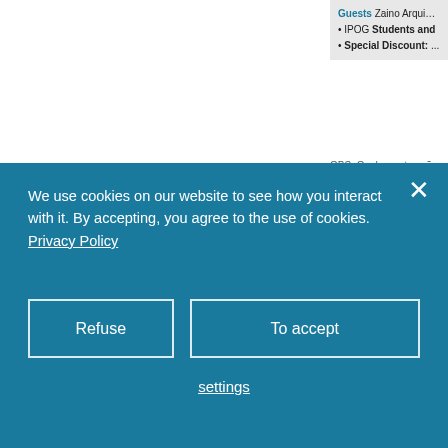Guests Zaino Arquim...
• IPOG Students and...
• Special Discount: ...
OBS: Os descontos não são...
OTHER COURSES
[Figure (logo): PagSeguro payment platform logo with orange/red sphere icon and italic text 'pagseguro' in black and green]
PATROCÍNIO:
We use cookies on our website to see how you interact with it. By accepting, you agree to the use of cookies. Privacy Policy
Refuse
To accept
settings